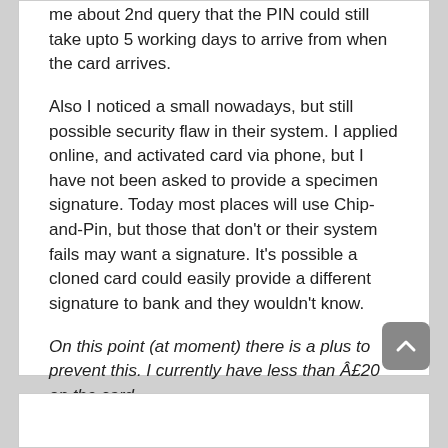me about 2nd query that the PIN could still take upto 5 working days to arrive from when the card arrives.
Also I noticed a small nowadays, but still possible security flaw in their system. I applied online, and activated card via phone, but I have not been asked to provide a specimen signature. Today most places will use Chip-and-Pin, but those that don't or their system fails may want a signature. It’s possible a cloned card could easily provide a different signature to bank and they wouldn’t know.
On this point (at moment) there is a plus to prevent this. I currently have less than Â£20 on the card.
This entry was posted in General by Paul. Bookmark the permalink.